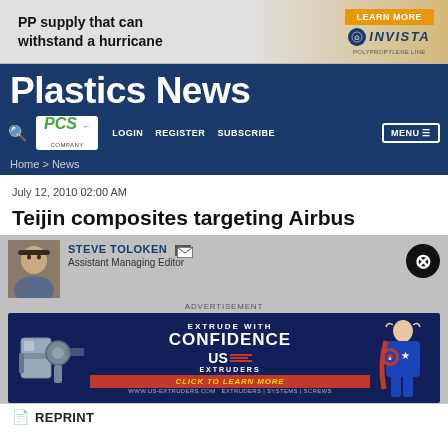[Figure (other): Advertisement banner: 'PP supply that can withstand a hurricane' with LEARN MORE button and Invista logo]
Plastics News
[Figure (logo): PCS Company logo]
LOGIN   REGISTER   SUBSCRIBE   MENU
Home > News
July 12, 2010 02:00 AM
Teijin composites targeting Airbus
STEVE TOLOKEN   Assistant Managing Editor
[Figure (other): Advertisement banner: EXTRUDE WITH CONFIDENCE - US Extruders. CLICK TO LEARN MORE. www.us-extruders.com]
REPRINT